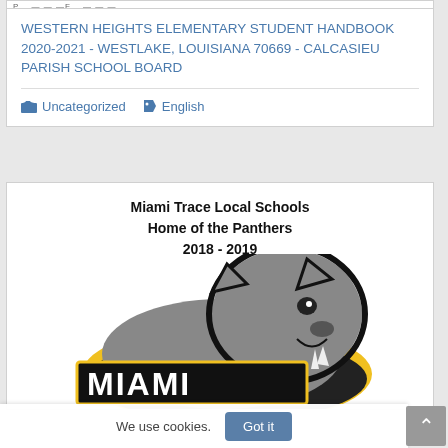WESTERN HEIGHTS ELEMENTARY STUDENT HANDBOOK 2020-2021 - WESTLAKE, LOUISIANA 70669 - CALCASIEU PARISH SCHOOL BOARD
Uncategorized   English
[Figure (logo): Miami Trace Local Schools Home of the Panthers 2018-2019 with panther mascot logo showing a roaring panther and the word MIAMI]
We use cookies.